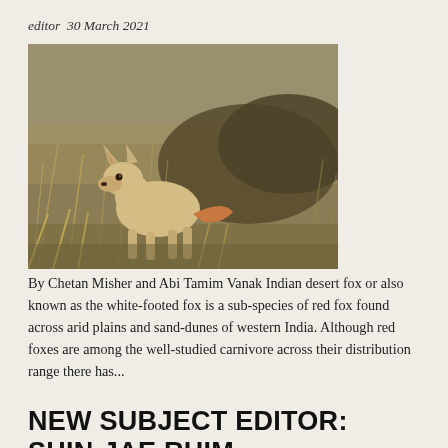editor  30 March 2021
[Figure (photo): A light tan Indian desert fox (white-footed fox) standing among dry scrub brush in an arid landscape. The fox is looking toward the camera.]
By Chetan Misher and Abi Tamim Vanak Indian desert fox or also known as the white-footed fox is a sub-species of red fox found across arid plains and sand-dunes of western India. Although red foxes are among the well-studied carnivore across their distribution range there has...
NEW SUBJECT EDITOR: SHIN-JAE RHIM